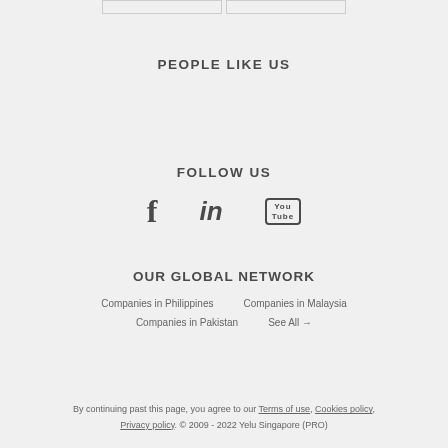PEOPLE LIKE US
FOLLOW US
[Figure (illustration): Social media icons: Facebook (f), LinkedIn (in), YouTube (You Tube box icon)]
OUR GLOBAL NETWORK
Companies in Philippines   Companies in Malaysia
Companies in Pakistan   See All →
By continuing past this page, you agree to our Terms of use, Cookies policy, Privacy policy. © 2009 - 2022 Yelu Singapore (PRO)